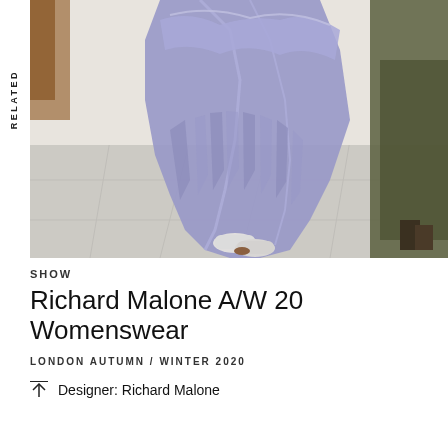RELATED
[Figure (photo): Fashion runway photo showing a model in a flowing lavender/periwinkle draped dress walking on a light grey floor, with another model in olive green visible to the right.]
SHOW
Richard Malone A/W 20 Womenswear
LONDON AUTUMN / WINTER 2020
Designer: Richard Malone